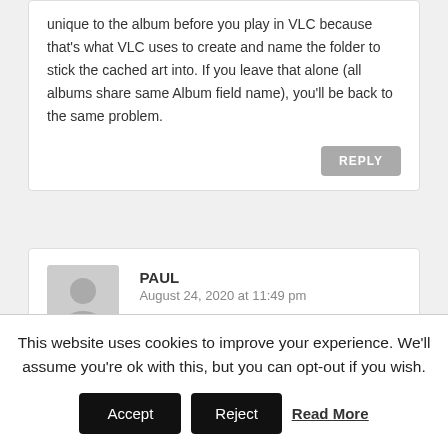unique to the album before you play in VLC because that's what VLC uses to create and name the folder to stick the cached art into. If you leave that alone (all albums share same Album field name), you'll be back to the same problem.
REPLY
PAUL
August 24, 2020 at 11:49 pm
This website uses cookies to improve your experience. We'll assume you're ok with this, but you can opt-out if you wish.
Accept
Reject
Read More